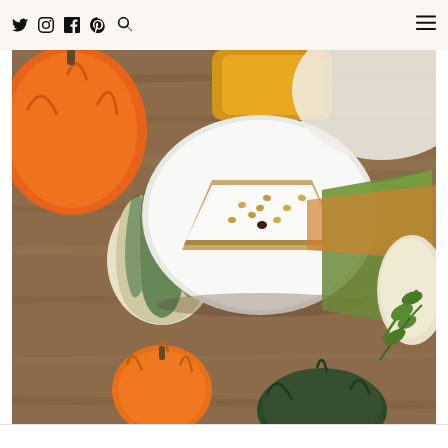Social icons: Twitter, Instagram, Facebook, Pinterest, Search; Hamburger menu
[Figure (photo): Overhead flat-lay photo of autumn gourds and pumpkins on a wooden table. A white plate holds a slice of pie or cheesecake topped with pine nuts. Colorful gourds including a striped decorative one, small orange pumpkin, and dark green squash are arranged around the plate. Green and orange fabric napkins are visible alongside fresh herb sprigs.]